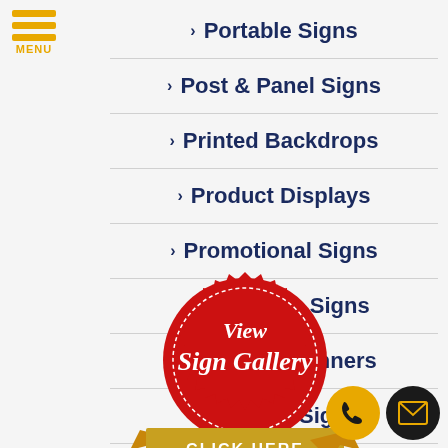[Figure (logo): Hamburger menu icon with three yellow horizontal bars and MENU label below]
Portable Signs
Post & Panel Signs
Printed Backdrops
Product Displays
Promotional Signs
Pylon Signs
Retractable Banners
Room ID Signs
Safety Signs
[Figure (illustration): Red wax seal badge with white text 'View Sign Gallery' and gold ribbon banner below reading 'CLICK HERE']
[Figure (illustration): Yellow circle phone button icon and dark circle email/envelope button icon at bottom right]